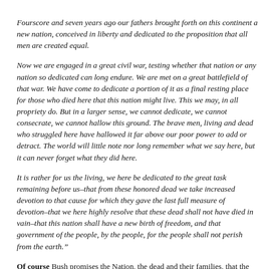Fourscore and seven years ago our fathers brought forth on this continent a new nation, conceived in liberty and dedicated to the proposition that all men are created equal.
Now we are engaged in a great civil war, testing whether that nation or any nation so dedicated can long endure. We are met on a great battlefield of that war. We have come to dedicate a portion of it as a final resting place for those who died here that this nation might live. This we may, in all propriety do. But in a larger sense, we cannot dedicate, we cannot consecrate, we cannot hallow this ground. The brave men, living and dead who struggled here have hallowed it far above our poor power to add or detract. The world will little note nor long remember what we say here, but it can never forget what they did here.
It is rather for us the living, we here be dedicated to the great task remaining before us–that from these honored dead we take increased devotion to that cause for which they gave the last full measure of devotion–that we here highly resolve that these dead shall not have died in vain–that this nation shall have a new birth of freedom, and that government of the people, by the people, for the people shall not perish from the earth.”
Of course Bush promises the Nation, the dead and their families, that the fallen will not have died in vain. That is not a cheap political ploy, it is what the Commander in Chi